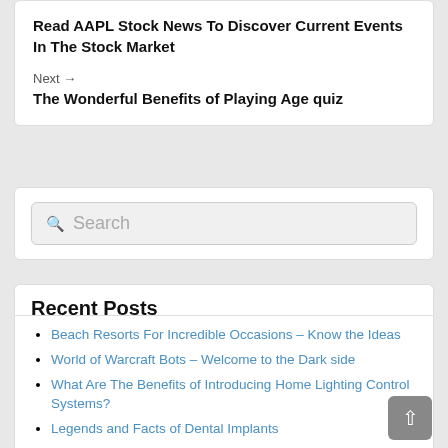Read AAPL Stock News To Discover Current Events In The Stock Market
Next →
The Wonderful Benefits of Playing Age quiz
Search
Recent Posts
Beach Resorts For Incredible Occasions – Know the Ideas
World of Warcraft Bots – Welcome to the Dark side
What Are The Benefits of Introducing Home Lighting Control Systems?
Legends and Facts of Dental Implants
Cutlery Sets – Picking the Right One